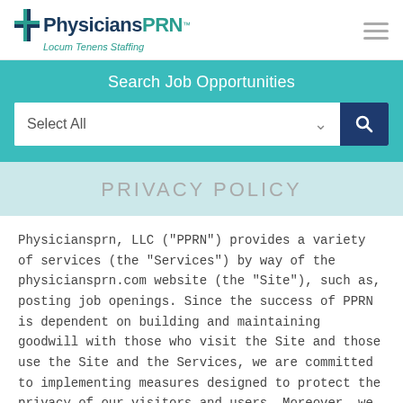PhysiciansPRN Locum Tenens Staffing
Search Job Opportunities
Select All
PRIVACY POLICY
Physiciansprn, LLC ("PPRN") provides a variety of services (the "Services") by way of the physiciansprn.com website (the "Site"), such as, posting job openings. Since the success of PPRN is dependent on building and maintaining goodwill with those who visit the Site and those use the Site and the Services, we are committed to implementing measures designed to protect the privacy of our visitors and users. Moreover, we see it as our responsibility to set examples and help establish the standards